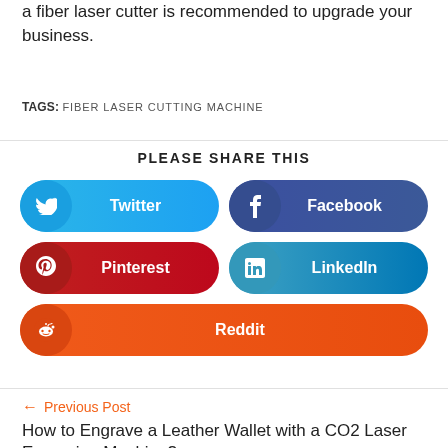a fiber laser cutter is recommended to upgrade your business.
TAGS: FIBER LASER CUTTING MACHINE
PLEASE SHARE THIS
Twitter
Facebook
Pinterest
LinkedIn
Reddit
← Previous Post
How to Engrave a Leather Wallet with a CO2 Laser Engraving Machine?